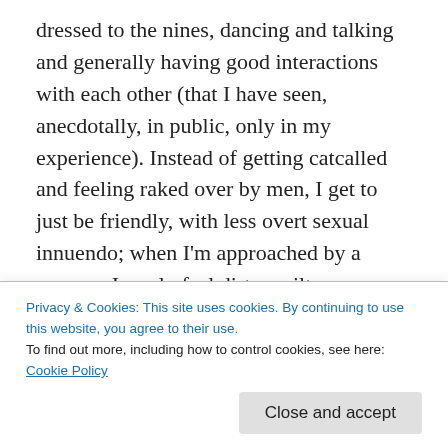dressed to the nines, dancing and talking and generally having good interactions with each other (that I have seen, anecdotally, in public, only in my experience). Instead of getting catcalled and feeling raked over by men, I get to just be friendly, with less overt sexual innuendo; when I'm approached by a woman, I rarely feel dirty, guilty or endangered if I (politely) turn her down.
But this is an article about a t-shirt.
Before the event, there were some jarring happenings. My
expressing his amazement that there were many POC
Privacy & Cookies: This site uses cookies. By continuing to use this website, you agree to their use.
To find out more, including how to control cookies, see here: Cookie Policy